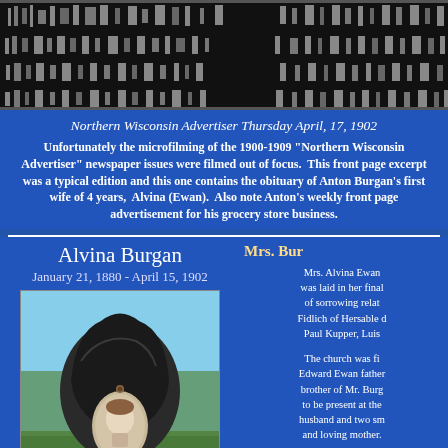[Figure (photo): Microfilm scan showing blurry newspaper text - out of focus microfilming artifact]
Northern Wisconsin Advertiser Thursday April, 17, 1902
Unfortunately the microfilming of the 1900-1909 "Northern Wisconsin Advertiser" newspaper issues were filmed out of focus. This front page excerpt was a typical edition and this one contains the obituary of Anton Burgan's first wife of 4 years, Alvina (Ewan). Also note Anton's weekly front page advertisement for his grocery store business.
Alvina Burgan
January 21, 1880 - April 15, 1902
[Figure (photo): Photograph of a large dark granite gravestone with an oval portrait medallion of a woman embedded in it, set in a cemetery with trees in the background]
Mrs. Bur
Mrs. Alvina Ewan was laid in her final of sorrowing relat Fidlich of Hersable d Paul Kupper, Luis
The church was fi Edward Ewan father brother of Mr. Burg to be present at the husband and two sm and loving mother.